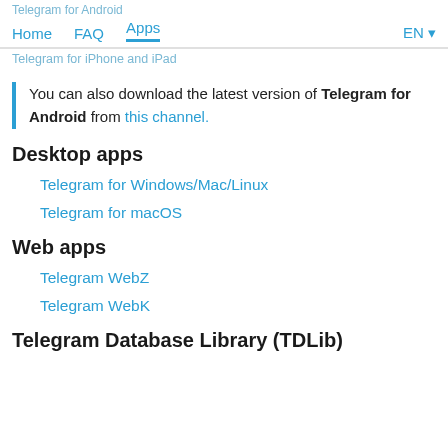Telegram for Android | Home | FAQ | Apps | EN
Telegram for iPhone and iPad
You can also download the latest version of Telegram for Android from this channel.
Desktop apps
Telegram for Windows/Mac/Linux
Telegram for macOS
Web apps
Telegram WebZ
Telegram WebK
Telegram Database Library (TDLib)